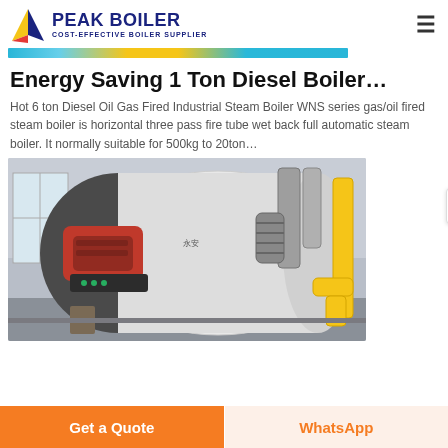PEAK BOILER - COST-EFFECTIVE BOILER SUPPLIER
[Figure (photo): Partial banner strip image at top of article]
Energy Saving 1 Ton Diesel Boiler…
Hot 6 ton Diesel Oil Gas Fired Industrial Steam Boiler WNS series gas/oil fired steam boiler is horizontal three pass fire tube wet back full automatic steam boiler. It normally suitable for 500kg to 20ton…
[Figure (photo): Industrial steam boiler in a factory setting, showing a large white cylindrical boiler with red burner head and yellow gas pipes on the right side]
Get a Quote | WhatsApp